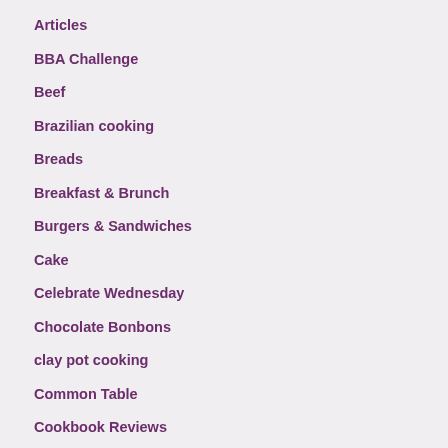Articles
BBA Challenge
Beef
Brazilian cooking
Breads
Breakfast & Brunch
Burgers & Sandwiches
Cake
Celebrate Wednesday
Chocolate Bonbons
clay pot cooking
Common Table
Cookbook Reviews
Cookies
Desserts
Desserts, Sweets